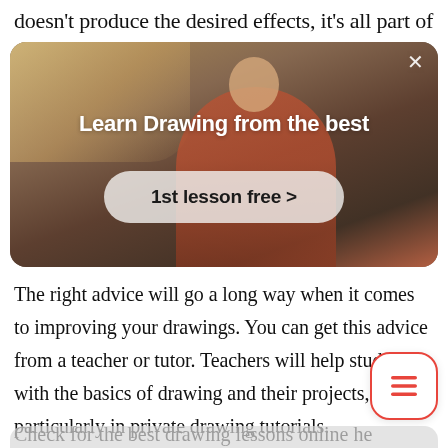doesn't produce the desired effects, it's all part of
[Figure (photo): Advertisement banner with a person gesturing in a room, overlaid with text 'Learn Drawing from the best' and a button reading '1st lesson free >']
The right advice will go a long way when it comes to improving your drawings. You can get this advice from a teacher or tutor. Teachers will help students with the basics of drawing and their projects, particularly in private drawing tutorials.
Check for the best drawing lessons online he